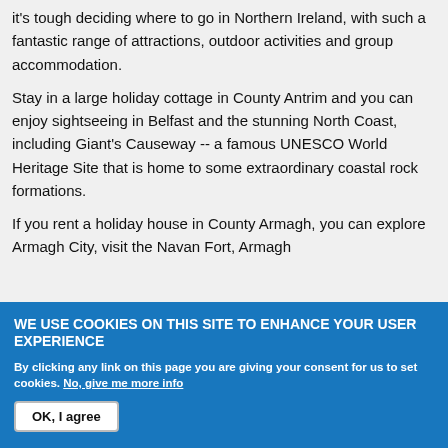it's tough deciding where to go in Northern Ireland, with such a fantastic range of attractions, outdoor activities and group accommodation.
Stay in a large holiday cottage in County Antrim and you can enjoy sightseeing in Belfast and the stunning North Coast, including Giant's Causeway -- a famous UNESCO World Heritage Site that is home to some extraordinary coastal rock formations.
If you rent a holiday house in County Armagh, you can explore Armagh City, visit the Navan Fort, Armagh...
WE USE COOKIES ON THIS SITE TO ENHANCE YOUR USER EXPERIENCE
By clicking any link on this page you are giving your consent for us to set cookies. No, give me more info
OK, I agree